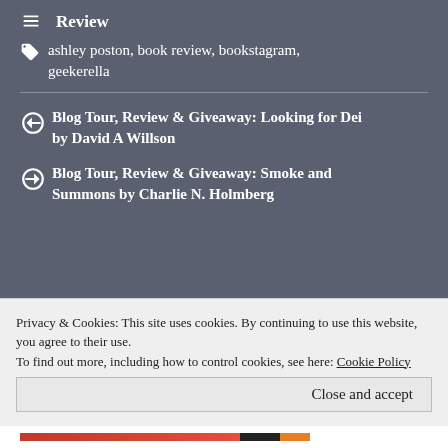Review
ashley poston, book review, bookstagram, geekerella
Blog Tour, Review & Giveaway: Looking for Dei by David A Willson
Blog Tour, Review & Giveaway: Smoke and Summons by Charlie N. Holmberg
Leave a Reply
Your email address will not be published.
Privacy & Cookies: This site uses cookies. By continuing to use this website, you agree to their use.
To find out more, including how to control cookies, see here: Cookie Policy
Close and accept